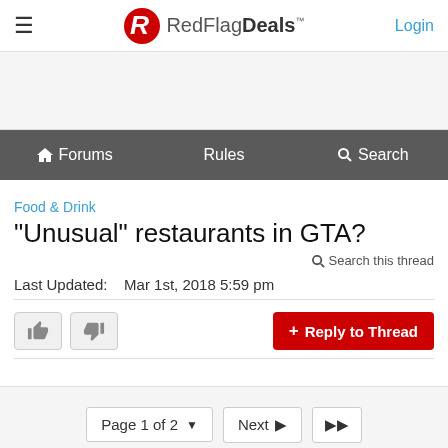RedFlagDeals™  Login
[Figure (logo): RedFlagDeals logo with red R icon and text]
Forums  Rules  Search
Food & Drink
"Unusual" restaurants in GTA?
Search this thread
Last Updated:   Mar 1st, 2018 5:59 pm
+ Reply to Thread
Page 1 of 2  Next ▶  ▶▶